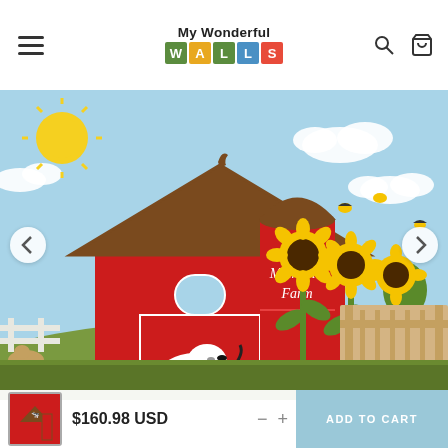My Wonderful WALLS
[Figure (photo): Farm-themed children's wall decal product image showing a red barn with 'Michael's Farm' silo, sunflowers, bees, cows, and a rooster weathervane on a light blue sky background. A baby crib is visible on the right side. Left and right navigation arrows are present.]
$160.98 USD
ADD TO CART